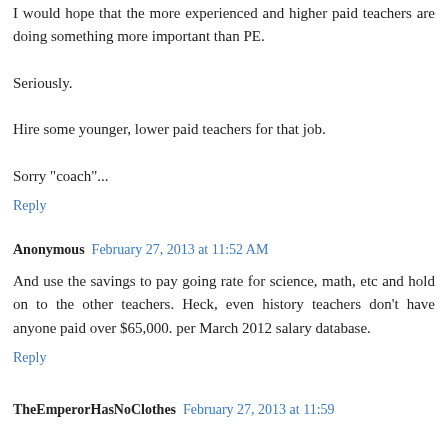I would hope that the more experienced and higher paid teachers are doing something more important than PE.

Seriously.

Hire some younger, lower paid teachers for that job.

Sorry "coach"...
Reply
Anonymous  February 27, 2013 at 11:52 AM
And use the savings to pay going rate for science, math, etc and hold on to the other teachers. Heck, even history teachers don't have anyone paid over $65,000. per March 2012 salary database.
Reply
TheEmperorHasNoClothes  February 27, 2013 at 11:59